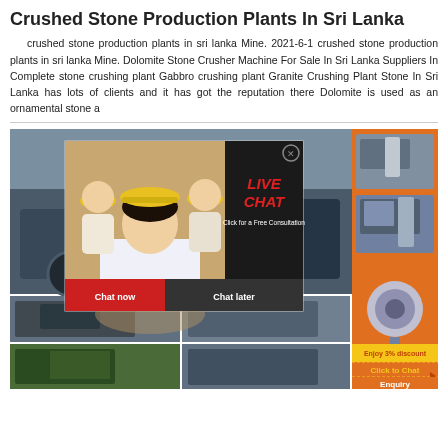Crushed Stone Production Plants In Sri Lanka
crushed stone production plants in sri lanka Mine. 2021-6-1 crushed stone production plants in sri lanka Mine. Dolomite Stone Crusher Machine For Sale In Sri Lanka Suppliers In Complete stone crushing plant Gabbro crushing plant Granite Crushing Plant Stone In Sri Lanka has lots of clients and it has got the reputation there Dolomite is used as an ornamental stone a
[Figure (photo): Collage of crushed stone production plant machinery and equipment with a live chat popup overlay showing workers in hard hats, LIVE CHAT text, Chat now and Chat later buttons, and an orange side panel with stone crusher machine images, Enjoy 3% discount banner, Click to Chat button, and Enquiry section]